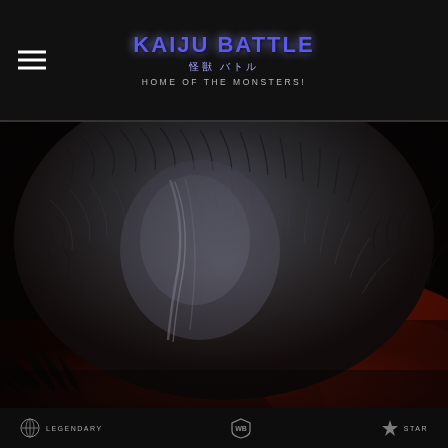Kaiju Battle 怪獣 バトル HOME OF THE MONSTERS!
[Figure (photo): Close-up macro photograph of a large creature's dark textured fur/skin, showing detailed hair and skin texture with a reddish background visible at the bottom and some tropical foliage in the lower left corner.]
LEGENDARY  [WB logo]  STAR